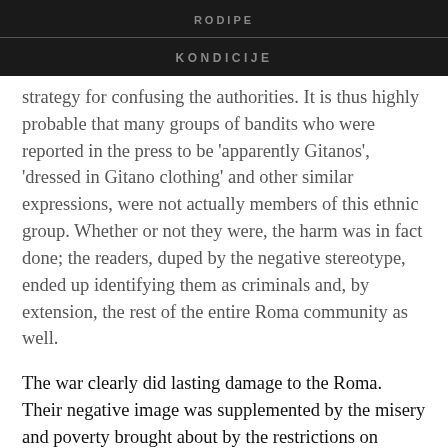RODIPE
KONDICIJE
strategy for confusing the authorities. It is thus highly probable that many groups of bandits who were reported in the press to be 'apparently Gitanos', 'dressed in Gitano clothing' and other similar expressions, were not actually members of this ethnic group. Whether or not they were, the harm was in fact done; the readers, duped by the negative stereotype, ended up identifying them as criminals and, by extension, the rest of the entire Roma community as well.
The war clearly did lasting damage to the Roma. Their negative image was supplemented by the misery and poverty brought about by the restrictions on movement, which prevented them from settling in a